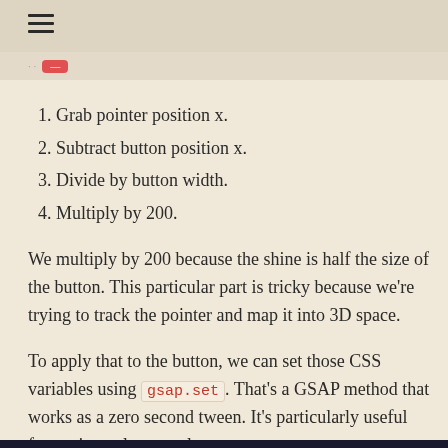≡
1. Grab pointer position x.
2. Subtract button position x.
3. Divide by button width.
4. Multiply by 200.
We multiply by 200 because the shine is half the size of the button. This particular part is tricky because we're trying to track the pointer and map it into 3D space.
To apply that to the button, we can set those CSS variables using gsap.set. That's a GSAP method that works as a zero second tween. It's particularly useful for setting values on elements.